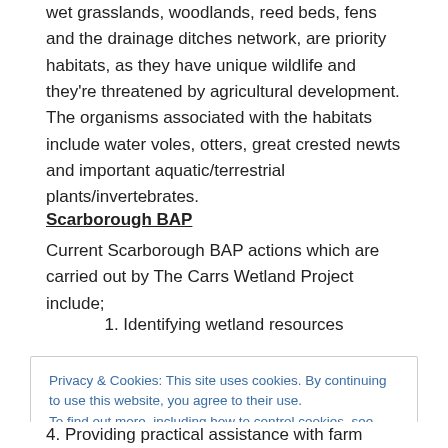wet grasslands, woodlands, reed beds, fens and the drainage ditches network, are priority habitats, as they have unique wildlife and they're threatened by agricultural development. The organisms associated with the habitats include water voles, otters, great crested newts and important aquatic/terrestrial plants/invertebrates.
Scarborough BAP
Current Scarborough BAP actions which are carried out by The Carrs Wetland Project include;
1. Identifying wetland resources
Privacy & Cookies: This site uses cookies. By continuing to use this website, you agree to their use. To find out more, including how to control cookies, see here: Cookie Policy
4. Providing practical assistance with farm